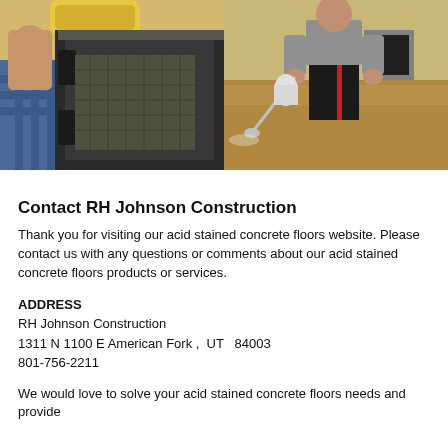[Figure (photo): Left photo: person using paint roller on dark metal surface/door frame, wearing plaid shirt]
[Figure (photo): Right photo: person spraying liquid on concrete floor with a wand applicator in a room]
Contact RH Johnson Construction
Thank you for visiting our acid stained concrete floors website. Please contact us with any questions or comments about our acid stained concrete floors products or services.
ADDRESS
RH Johnson Construction
1311 N 1100 E American Fork ,  UT  84003
801-756-2211
We would love to solve your acid stained concrete floors needs and provide